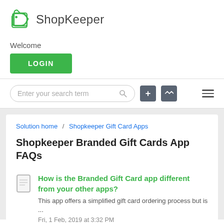ShopKeeper
Welcome
LOGIN
Enter your search term
Solution home / Shopkeeper Gift Card Apps
Shopkeeper Branded Gift Cards App FAQs
How is the Branded Gift Card app different from your other apps?
This app offers a simplified gift card ordering process but is ...
Fri, 1 Feb, 2019 at 3:32 PM